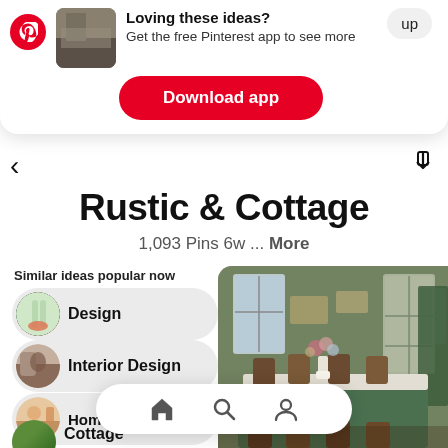Loving these ideas? Get the free Pinterest app to see more
Download app
Rustic & Cottage
1,093 Pins 6w ... More
Similar ideas popular now
Design
Interior Design
Home Decor
Cottage
[Figure (photo): Rustic dining room with dark wood table, chairs, green tablecloth, floral wallpaper, and flower arrangement]
Home / Search / Profile navigation icons